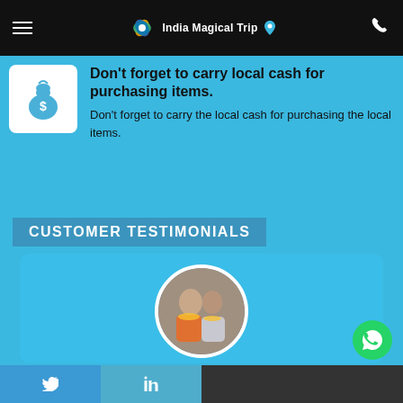India Magical Trip
Don't forget to carry local cash for purchasing items.
Don't forget to carry the local cash for purchasing the local items.
CUSTOMER TESTIMONIALS
[Figure (photo): Circular photo of two people wearing flower garlands — Jorge Gama and a companion]
JORGE GAMA (MEXICO)